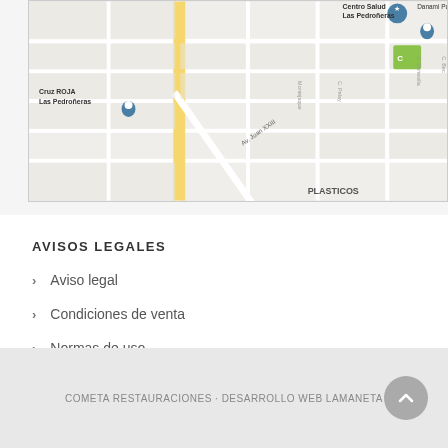[Figure (map): Google Maps view of Las Pedroñeras showing Centro Salud Las Pedroñeras, Cruz ROJA Las Pedroñeras, Danami Publicidad, and street grid with Av. Juan XXIII and PLASTICOS label]
AVISOS LEGALES
Aviso legal
Condiciones de venta
Normas de uso
COMETA RESTAURACIONES · DESARROLLO WEB LAMANETA